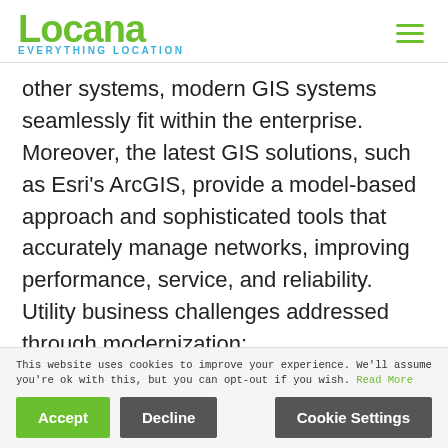Locana — EVERYTHING LOCATION
other systems, modern GIS systems seamlessly fit within the enterprise. Moreover, the latest GIS solutions, such as Esri's ArcGIS, provide a model-based approach and sophisticated tools that accurately manage networks, improving performance, service, and reliability. Utility business challenges addressed through modernization:
This website uses cookies to improve your experience. We'll assume you're ok with this, but you can opt-out if you wish. Read More
Accept  Decline  Cookie Settings